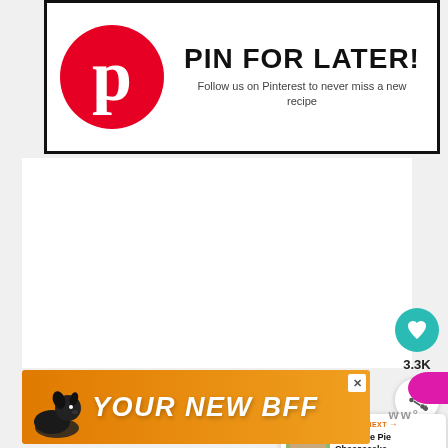[Figure (infographic): Pinterest 'Pin For Later' banner with red Pinterest logo circle and text 'PIN FOR LATER! Follow us on Pinterest to never miss a new recipe']
[Figure (infographic): Social sharing widget with teal heart button showing 3.3K likes and a share button below]
[Figure (infographic): What's Next card showing thumbnail of Key Lime Pie Cheesecake with label and arrow]
[Figure (infographic): Advertisement banner with dog image and text 'YOUR NEW BFF' on orange background]
WW°